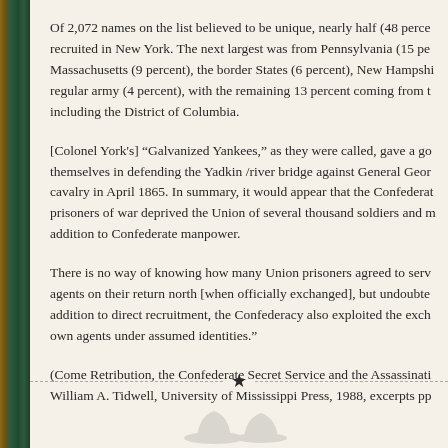Of 2,072 names on the list believed to be unique, nearly half (48 percent) were recruited in New York. The next largest was from Pennsylvania (15 percent), Massachusetts (9 percent), the border States (6 percent), New Hampshire, and the regular army (4 percent), with the remaining 13 percent coming from the other States, including the District of Columbia.
[Colonel York's] "Galvanized Yankees," as they were called, gave a good account of themselves in defending the Yadkin /river bridge against General George Stoneman's cavalry in April 1865. In summary, it would appear that the Confederate use of Union prisoners of war deprived the Union of several thousand soldiers and made a significant addition to Confederate manpower.
There is no way of knowing how many Union prisoners agreed to serve as Confederate agents on their return north [when officially exchanged], but undoubtedly many did. In addition to direct recruitment, the Confederacy also exploited the exchange system to send own agents under assumed identities."
(Come Retribution, the Confederate Secret Service and the Assassination of Lincoln, William A. Tidwell, University of Mississippi Press, 1988, excerpts pp
[Figure (illustration): Decorative divider with a star centered on a dashed horizontal line, with a small illustration of hats below]